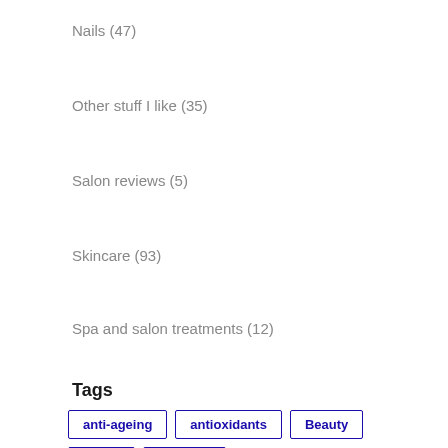Nails (47)
Other stuff I like (35)
Salon reviews (5)
Skincare (93)
Spa and salon treatments (12)
Uncategorized (242)
Wellbeing (13)
Tags
anti-ageing
antioxidants
Beauty
Boots
Bourjois